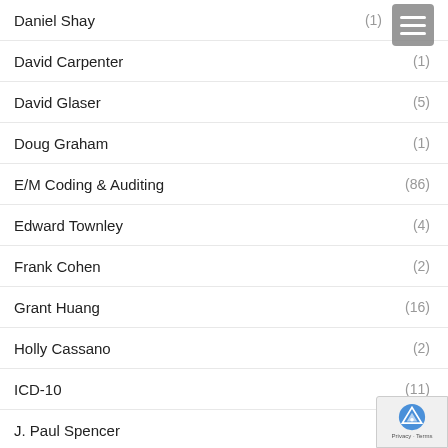Daniel Shay (1)
David Carpenter (1)
David Glaser (5)
Doug Graham (1)
E/M Coding & Auditing (86)
Edward Townley (4)
Frank Cohen (2)
Grant Huang (16)
Holly Cassano (2)
ICD-10 (11)
J. Paul Spencer (8)
Jamee Black (2)
Jeannie Cagle (1)
Jesse Overbay
Jill Young